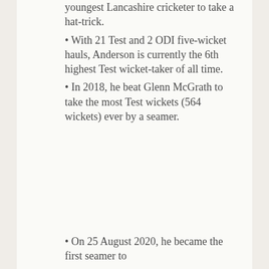youngest Lancashire cricketer to take a hat-trick.
With 21 Test and 2 ODI five-wicket hauls, Anderson is currently the 6th highest Test wicket-taker of all time.
In 2018, he beat Glenn McGrath to take the most Test wickets (564 wickets) ever by a seamer.
On 25 August 2020, he became the first seamer to